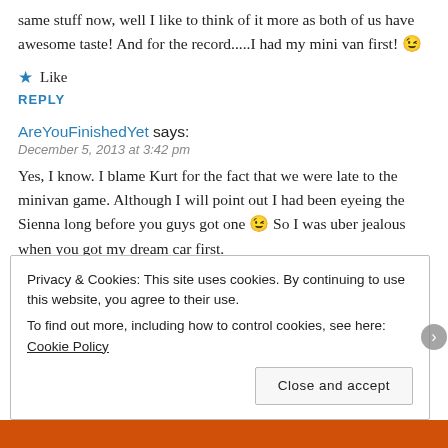same stuff now, well I like to think of it more as both of us have awesome taste! And for the record.....I had my mini van first! 😉
★ Like
REPLY
AreYouFinishedYet says:
December 5, 2013 at 3:42 pm
Yes, I know. I blame Kurt for the fact that we were late to the minivan game. Although I will point out I had been eyeing the Sienna long before you guys got one 😉 So I was uber jealous when you got my dream car first.
★ Like
Privacy & Cookies: This site uses cookies. By continuing to use this website, you agree to their use.
To find out more, including how to control cookies, see here: Cookie Policy
Close and accept